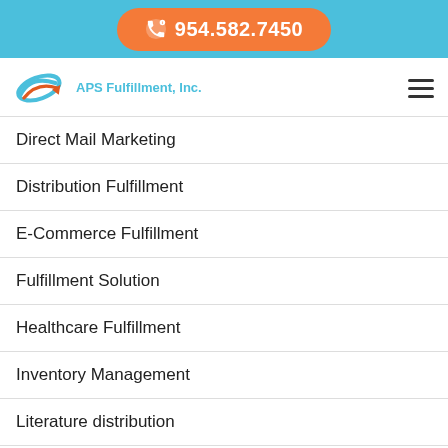954.582.7450
[Figure (logo): APS Fulfillment, Inc. logo with stylized swoosh icon]
Direct Mail Marketing
Distribution Fulfillment
E-Commerce Fulfillment
Fulfillment Solution
Healthcare Fulfillment
Inventory Management
Literature distribution
Logistics Management
Order Fulfillment